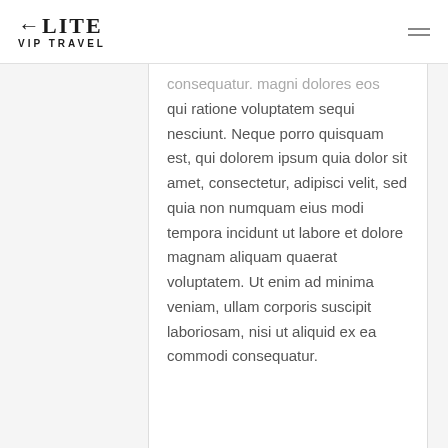ELITE VIP TRAVEL
consequatur. magni dolores eos qui ratione voluptatem sequi nesciunt. Neque porro quisquam est, qui dolorem ipsum quia dolor sit amet, consectetur, adipisci velit, sed quia non numquam eius modi tempora incidunt ut labore et dolore magnam aliquam quaerat voluptatem. Ut enim ad minima veniam, ullam corporis suscipit laboriosam, nisi ut aliquid ex ea commodi consequatur.